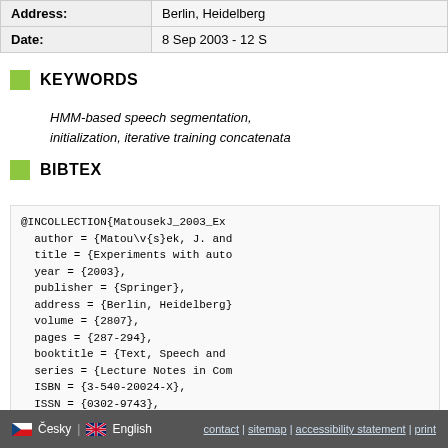|  |  |
| --- | --- |
| Address: | Berlin, Heidelberg |
| Date: | 8 Sep 2003 - 12 S |
KEYWORDS
HMM-based speech segmentation, initialization, iterative training concatenata...
BIBTEX
@INCOLLECTION{MatousekJ_2003_Ex
  author = {Matou\v{s}ek, J. and
  title = {Experiments with auto
  year = {2003},
  publisher = {Springer},
  address = {Berlin, Heidelberg}
  volume = {2807},
  pages = {287-294},
  booktitle = {Text, Speech and
  series = {Lecture Notes in Com
  ISBN = {3-540-20024-X},
  ISSN = {0302-9743},
  url = {http://www.kky.zcu.cz/e
}
Česky | English   contact | sitemap | accessibility statement | print